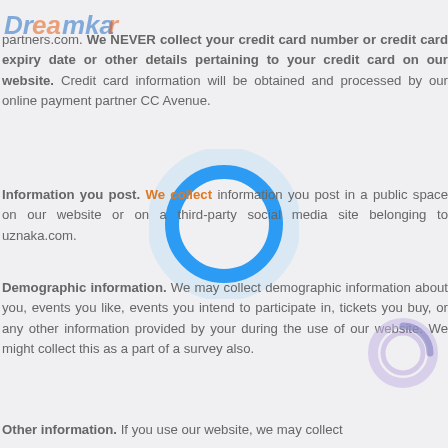[Figure (logo): Dreamkar logo top left, partially visible]
partners.com. We NEVER collect your credit card number or credit card expiry date or other details pertaining to your credit card on our website. Credit card information will be obtained and processed by our online payment partner CC Avenue.
[Figure (other): Blue circular loading spinner (ring) overlaid in the center of the page]
Information you post. We collect information you post in a public space on our website or on a third-party social media site belonging to uznaka.com.
Demographic information. We may collect demographic information about you, events you like, events you intend to participate in, tickets you buy, or any other information provided by your during the use of our website. We might collect this as a part of a survey also.
[Figure (other): Small blue/purple circular spinner at bottom right corner]
Other information. If you use our website, we may collect